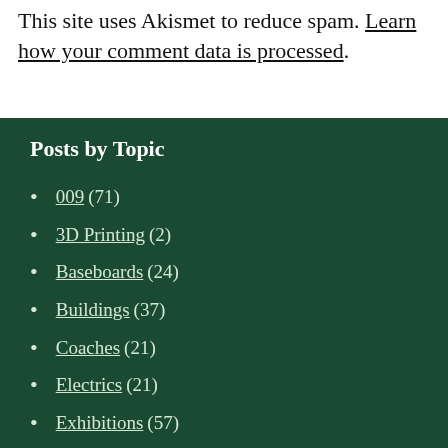This site uses Akismet to reduce spam. Learn how your comment data is processed.
Posts by Topic
009 (71)
3D Printing (2)
Baseboards (24)
Buildings (37)
Coaches (21)
Electrics (21)
Exhibitions (57)
Layout: 'First' (37)
Layout: Apadobe Mine (33)
Layout: Granta Valley Railway (50)
Layout: Thaxted (6)